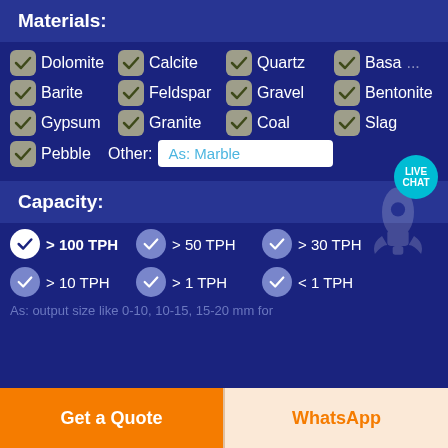Materials:
Dolomite, Calcite, Quartz, Basal[t] (checked)
Barite, Feldspar, Gravel, Bentonite (checked)
Gypsum, Granite, Coal, Slag (checked)
Pebble (checked), Other: As: Marble
Capacity:
> 100 TPH (active), > 50 TPH, > 30 TPH
> 10 TPH, > 1 TPH, < 1 TPH
As: output size like 0-10, 10-15, 15-20 mm for
Get a Quote
WhatsApp